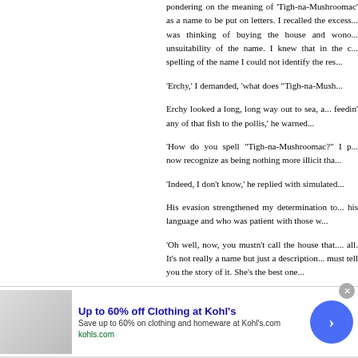pondering on the meaning of 'Tigh-na-Mushroomac' as a name to be put on letters. I recalled the excess... was thinking of buying the house and wono... unsuitability of the name. I knew that in the ... spelling of the name I could not identify the res...
'Erchy,' I demanded, 'what does "Tigh-na-Mush...
Erchy looked a long, long way out to sea, a... feedin' any of that fish to the pollis,' he warned...
'How do you spell "Tigh-na-Mushroomac?" I ... now recognize as being nothing more illicit tha...
'Indeed, I don't know,' he replied with simulate...
His evasion strengthened my determination to... his language and who was patient with those w...
'Oh well, now, you mustn't call the house that.... all. It's not really a name but just a description... must tell you the story of it. She's the best one...
[Figure (other): Advertisement banner for Kohl's: 'Up to 60% off Clothing at Kohl's', Save up to 60% on clothing and homeware at Kohl's.com, kohls.com, with a blue play/arrow button circle and a close (X) button.]